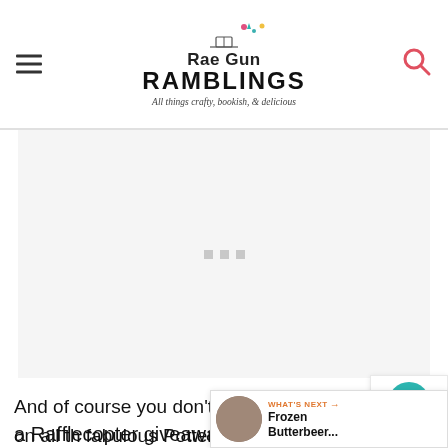Rae Gun RAMBLINGS — All things crafty, bookish, & delicious
[Figure (other): Advertisement placeholder area with three small grey dots]
And of course you don't want to miss out on all th fabulous Potter related swag we're sharing for the main series giveaway. See this post for
a Rafflecopter giveaway